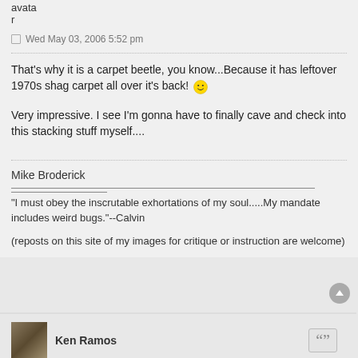avatar
Wed May 03, 2006 5:52 pm
That's why it is a carpet beetle, you know...Because it has leftover 1970s shag carpet all over it's back! 😄
Very impressive. I see I'm gonna have to finally cave and check into this stacking stuff myself....
Mike Broderick
"I must obey the inscrutable exhortations of my soul.....My mandate includes weird bugs."--Calvin
(reposts on this site of my images for critique or instruction are welcome)
Ken Ramos